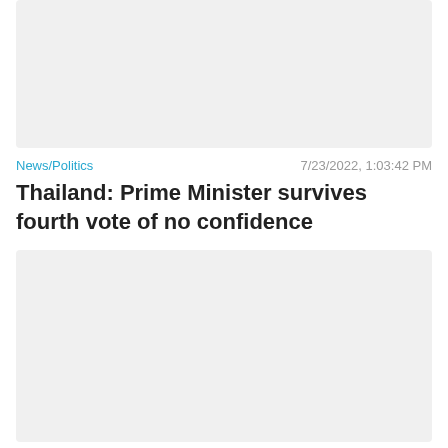[Figure (photo): Top image placeholder - light gray rectangle representing a news article thumbnail]
News/Politics — 7/23/2022, 1:03:42 PM
Thailand: Prime Minister survives fourth vote of no confidence
[Figure (photo): Second image placeholder - light gray rectangle representing a news article thumbnail]
News/Politics — 5/23/2022, 10:33:31 AM
To be elected as an independent candidate for the governor of the capital of Thailand